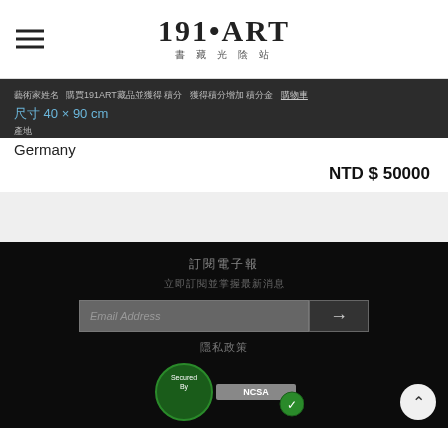[Figure (logo): 191ART logo with Chinese characters subtitle and hamburger menu icon]
藝術家姓名  購買191ART藏品並獲得 積分 獲得積分增加 積分金 購物車
尺寸 40 × 90 cm
產地
Germany
NTD $ 50000
訂閱電子報
立即訂閱並掌握最新消息
Email Address
隱私政策
[Figure (logo): Secured By SSL/TLS badge with green checkmark]